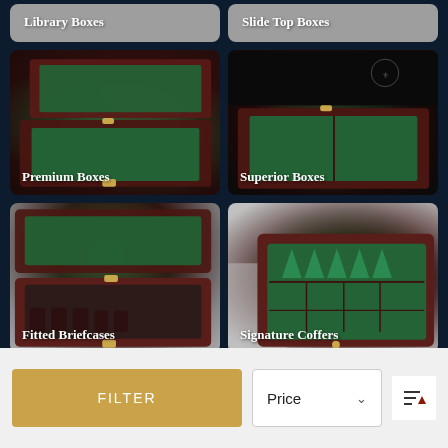[Figure (photo): Partial view of Library Boxes category card with grey background]
[Figure (photo): Partial view of Slide Top Boxes category card with grey background]
[Figure (photo): Open dark wood chess box with green felt interior - Premium Boxes]
[Figure (photo): Open dark wood chess box with green felt interior and brand logo - Superior Boxes]
[Figure (photo): Open red wood briefcase with green felt interior - Fitted Briefcases]
[Figure (photo): Open red wood coffer with green felt and cone-shaped dividers - Signature Coffers]
FILTER
Price